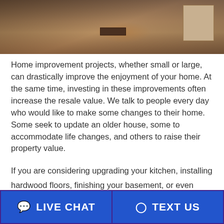[Figure (photo): Construction photo showing wood subfloor with markings, a floor vent, and a cardboard box in the background against a partially framed wall.]
Home improvement projects, whether small or large, can drastically improve the enjoyment of your home. At the same time, investing in these improvements often increase the resale value. We talk to people every day who would like to make some changes to their home. Some seek to update an older house, some to accommodate life changes, and others to raise their property value.
If you are considering upgrading your kitchen, installing hardwood floors, finishing your basement, or even adding a whole story to your house, we want to help! With a home improvement loan from Cornerstone First Financial, projects
LIVE CHAT
TEXT US